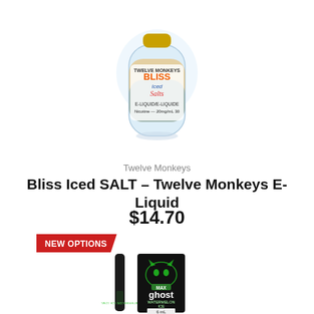[Figure (photo): Twelve Monkeys Bliss Iced Salts e-liquid bottle with tropical design, nicotine 20mg/mL 30mL label]
Twelve Monkeys
Bliss Iced SALT – Twelve Monkeys E-Liquid
$14.70
NEW OPTIONS
[Figure (photo): Ghost MAX Watermelon Ice disposable vape device (black pen) and product box with green glowing cat face graphic, 6mL]